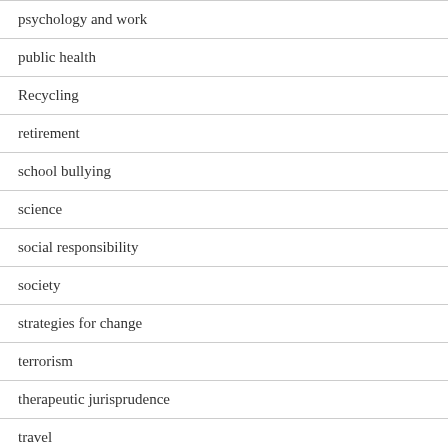psychology and work
public health
Recycling
retirement
school bullying
science
social responsibility
society
strategies for change
terrorism
therapeutic jurisprudence
travel
Uncategorized
Videos
voluntarism